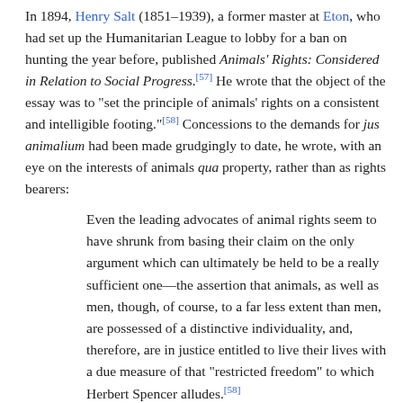In 1894, Henry Salt (1851–1939), a former master at Eton, who had set up the Humanitarian League to lobby for a ban on hunting the year before, published Animals' Rights: Considered in Relation to Social Progress.[57] He wrote that the object of the essay was to "set the principle of animals' rights on a consistent and intelligible footing."[58] Concessions to the demands for jus animalium had been made grudgingly to date, he wrote, with an eye on the interests of animals qua property, rather than as rights bearers:
Even the leading advocates of animal rights seem to have shrunk from basing their claim on the only argument which can ultimately be held to be a really sufficient one—the assertion that animals, as well as men, though, of course, to a far less extent than men, are possessed of a distinctive individuality, and, therefore, are in justice entitled to live their lives with a due measure of that "restricted freedom" to which Herbert Spencer alludes.[58]
He argued that there was no point in claiming rights for animals if those rights were subordinated to human desire, and took issue